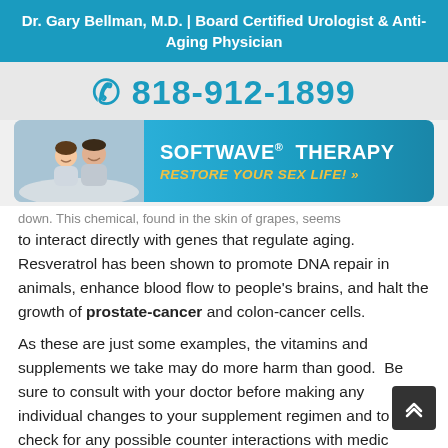Dr. Gary Bellman, M.D. | Board Certified Urologist & Anti-Aging Physician
818-912-1899
[Figure (infographic): SoftWave Therapy banner with photo of couple and text 'SOFTWAVE® THERAPY RESTORE YOUR SEX LIFE! »']
down. This chemical, found in the skin of grapes, seems to interact directly with genes that regulate aging. Resveratrol has been shown to promote DNA repair in animals, enhance blood flow to people's brains, and halt the growth of prostate-cancer and colon-cancer cells.
As these are just some examples, the vitamins and supplements we take may do more harm than good.  Be sure to consult with your doctor before making any individual changes to your supplement regimen and to check for any possible counter interactions with medications you're currently taking.